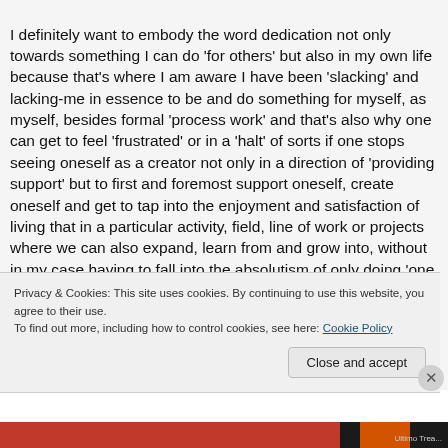I definitely want to embody the word dedication not only towards something I can do 'for others' but also in my own life because that's where I am aware I have been 'slacking' and lacking-me in essence to be and do something for myself, as myself, besides formal 'process work' and that's also why one can get to feel 'frustrated' or in a 'halt' of sorts if one stops seeing oneself as a creator not only in a direction of 'providing support' but to first and foremost support oneself, create oneself and get to tap into the enjoyment and satisfaction of living that in a particular activity, field, line of work or projects where we can also expand, learn from and grow into, without in my case having to fall into the absolutism of only doing 'one thing,' because that's
Privacy & Cookies: This site uses cookies. By continuing to use this website, you agree to their use.
To find out more, including how to control cookies, see here: Cookie Policy
Close and accept